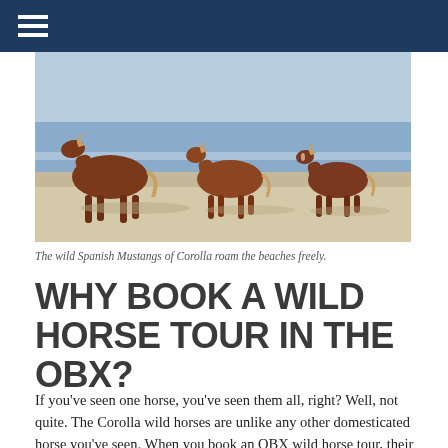[Figure (photo): Three wild Spanish Mustang horses walking along a sandy beach with ocean waves in the background. The horses are chestnut/brown colored and walking left to right.]
The wild Spanish Mustangs of Corolla roam the beaches freely.
WHY BOOK A WILD HORSE TOUR IN THE OBX?
If you've seen one horse, you've seen them all, right? Well, not quite. The Corolla wild horses are unlike any other domesticated horse you've seen. When you book an OBX wild horse tour, their guides will know all the best and